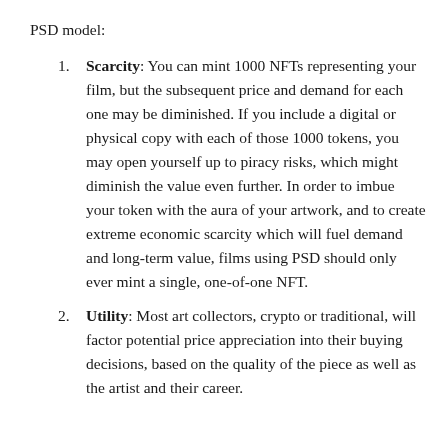PSD model:
Scarcity: You can mint 1000 NFTs representing your film, but the subsequent price and demand for each one may be diminished. If you include a digital or physical copy with each of those 1000 tokens, you may open yourself up to piracy risks, which might diminish the value even further. In order to imbue your token with the aura of your artwork, and to create extreme economic scarcity which will fuel demand and long-term value, films using PSD should only ever mint a single, one-of-one NFT.
Utility: Most art collectors, crypto or traditional, will factor potential price appreciation into their buying decisions, based on the quality of the piece as well as the artist and their career.